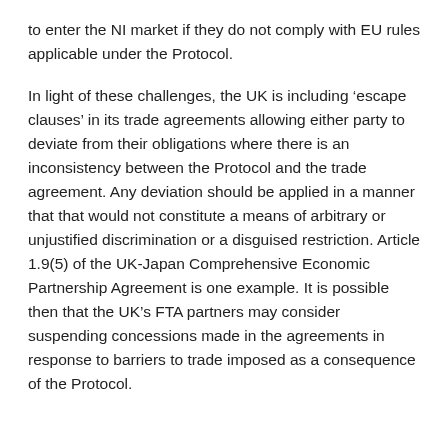to enter the NI market if they do not comply with EU rules applicable under the Protocol.
In light of these challenges, the UK is including ‘escape clauses’ in its trade agreements allowing either party to deviate from their obligations where there is an inconsistency between the Protocol and the trade agreement. Any deviation should be applied in a manner that that would not constitute a means of arbitrary or unjustified discrimination or a disguised restriction. Article 1.9(5) of the UK-Japan Comprehensive Economic Partnership Agreement is one example. It is possible then that the UK’s FTA partners may consider suspending concessions made in the agreements in response to barriers to trade imposed as a consequence of the Protocol.